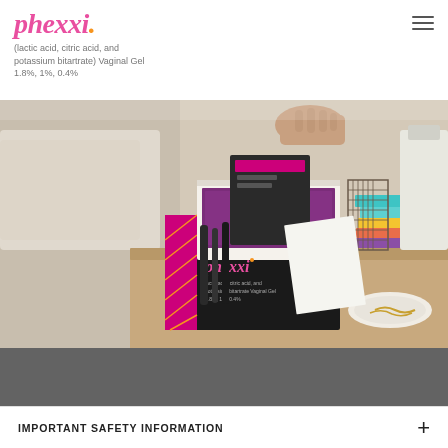[Figure (logo): Phexxi brand logo in pink italic script with orange dot, accompanied by subtitle '(lactic acid, citric acid, and potassium bitartrate) Vaginal Gel 1.8%, 1%, 0.4%']
[Figure (photo): Person opening a Phexxi product box on a wooden nightstand. The box is black with pink accents and the Phexxi branding. Various items visible in the background including books, a lamp, and a plate with jewelry.]
IMPORTANT SAFETY INFORMATION +